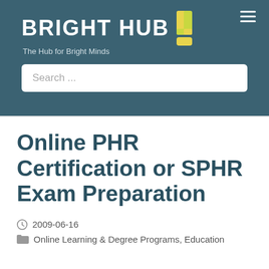[Figure (logo): Bright Hub logo with yellow exclamation mark icon and tagline 'The Hub for Bright Minds' on teal background header with search bar]
Online PHR Certification or SPHR Exam Preparation
2009-06-16
Online Learning & Degree Programs, Education